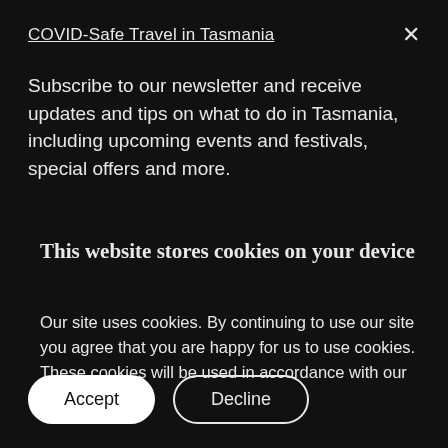COVID-Safe Travel in Tasmania
Subscribe to our newsletter and receive updates and tips on what to do in Tasmania, including upcoming events and festivals, special offers and more.
This website stores cookies on your device
Our site uses cookies. By continuing to use our site you agree that you are happy for us to use cookies. These cookies will be used in accordance with our privacy policy.